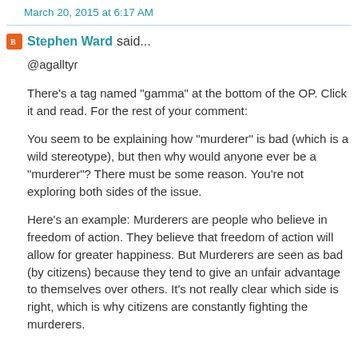March 20, 2015 at 6:17 AM
Stephen Ward said...
@agalltyr
There's a tag named "gamma" at the bottom of the OP. Click it and read. For the rest of your comment:
You seem to be explaining how "murderer" is bad (which is a wild stereotype), but then why would anyone ever be a "murderer"? There must be some reason. You're not exploring both sides of the issue.
Here's an example: Murderers are people who believe in freedom of action. They believe that freedom of action will allow for greater happiness. But Murderers are seen as bad (by citizens) because they tend to give an unfair advantage to themselves over others. It's not really clear which side is right, which is why citizens are constantly fighting the murderers.